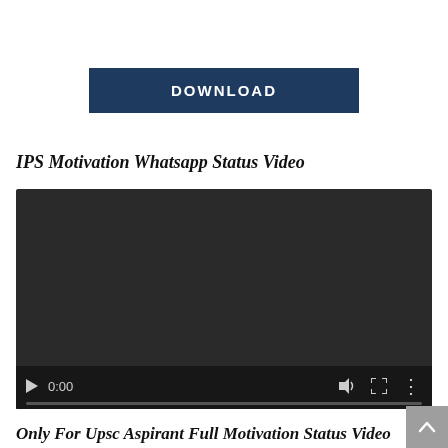[Figure (other): DOWNLOAD button — dark navy blue rectangular button with white bold uppercase text 'DOWNLOAD']
IPS Motivation Whatsapp Status Video
[Figure (screenshot): Embedded video player with dark background (near black), showing time 0:00, play button, volume icon, fullscreen icon, and options icon. A progress bar is shown at the bottom.]
Only For Upsc Aspirant Full Motivation Status Video